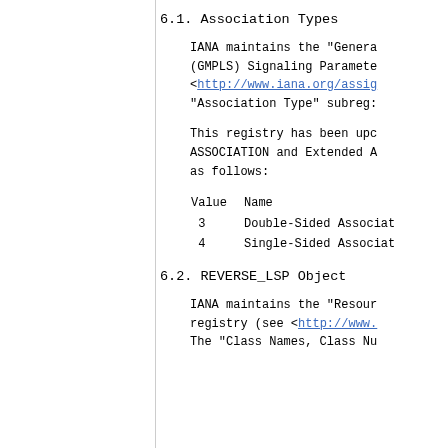6.1.  Association Types
IANA maintains the "Genera (GMPLS) Signaling Paramete <http://www.iana.org/assig "Association Type" subreg:
This registry has been upc ASSOCIATION and Extended A as follows:
| Value | Name |
| --- | --- |
| 3 | Double-Sided Associat |
| 4 | Single-Sided Associat |
6.2.  REVERSE_LSP Object
IANA maintains the "Resour registry (see <http://www. The "Class Names, Class Nu